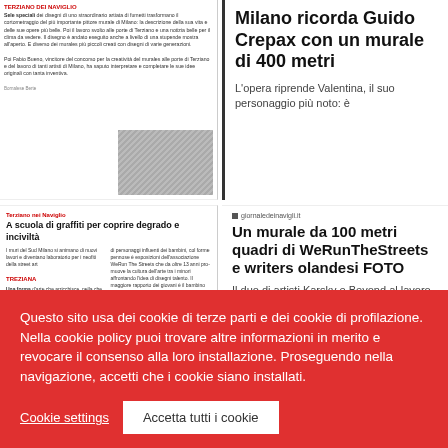[Figure (screenshot): Newspaper article with photo - top left article block about street art/graffiti with small body text and image]
Milano ricorda Guido Crepax con un murale di 400 metri
L'opera riprende Valentina, il suo personaggio più noto: è
A scuola di graffiti per coprire degrado e inciviltà
I muri del Sud Milano si animano di nuovi lavori e diventano laboratorio per i neofiti della street art
[Figure (screenshot): GiornaledeiNavigli.it website header with menu lines and logo]
giornaledeinavigli.it
Un murale da 100 metri quadri di WeRunTheStreets e writers olandesi FOTO
Il duo di artisti Karsky e Beyond al lavoro sulla parete dell'oratorio. Il sindaco:
Questo sito usa dei cookie di terze parti e dei cookie di profilazione. Nella cookie policy puoi trovare altre informazioni in merito e revocare il consenso alla loro installazione. Proseguendo nella navigazione, accetti che i cookie siano installati.
Cookie settings
Accetta tutti i cookie